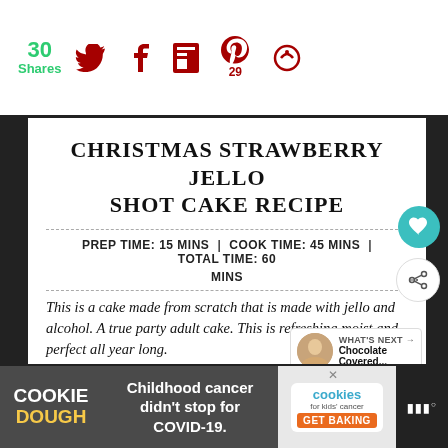30 Shares | Twitter | Facebook | Flipboard | Pinterest 29 | Share
CHRISTMAS STRAWBERRY JELLO SHOT CAKE RECIPE
PREP TIME: 15 MINS | COOK TIME: 45 MINS | TOTAL TIME: 60 MINS
This is a cake made from scratch that is made with jello and alcohol. A true party adult cake. This is refreshing moist and perfect all year long.
[Figure (other): Heart favorite button (teal circle with white heart icon) and share button]
[Figure (other): What's Next panel: Chocolate Covered... with thumbnail image]
[Figure (other): Cookie Dough / Childhood cancer didn't stop for COVID-19 / cookies for kids cancer GET BAKING advertisement banner]